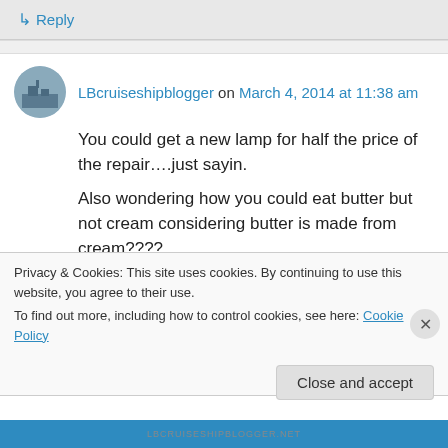↳ Reply
LBcruiseshipblogger on March 4, 2014 at 11:38 am
You could get a new lamp for half the price of the repair….just sayin.
Also wondering how you could eat butter but not cream considering butter is made from cream????
I'd ditch the twisty lightbulb and go with LED.
Less power and no noise. (The twisty ones make
Privacy & Cookies: This site uses cookies. By continuing to use this website, you agree to their use.
To find out more, including how to control cookies, see here: Cookie Policy
Close and accept